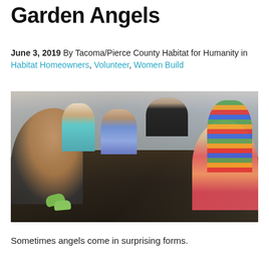Garden Angels
June 3, 2019 By Tacoma/Pierce County Habitat for Humanity in Habitat Homeowners, Volunteer, Women Build
[Figure (photo): Children sitting around a raised garden bed, reaching into dark soil with their hands. One child on the left is smiling and wearing a dark hoodie with green gloves. A child in floral clothing is in the center-left. A child in a dark Camp Seymour shirt sits in the back. A child in a colorful striped shirt and another in rainbow stripes are on the right side.]
Sometimes angels come in surprising forms.